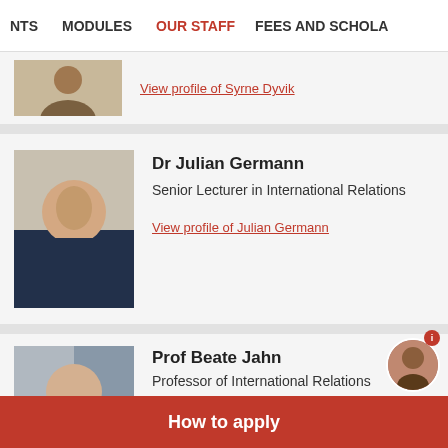NTS  MODULES  OUR STAFF  FEES AND SCHOLA
View profile of Syrne Dyvik
Dr Julian Germann
Senior Lecturer in International Relations
View profile of Julian Germann
Prof Beate Jahn
Professor of International Relations
View profile of Beate Jahn
How to apply